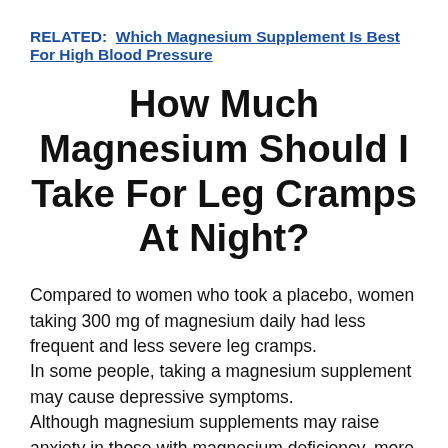RELATED:  Which Magnesium Supplement Is Best For High Blood Pressure
How Much Magnesium Should I Take For Leg Cramps At Night?
Compared to women who took a placebo, women taking 300 mg of magnesium daily had less frequent and less severe leg cramps.
In some people, taking a magnesium supplement may cause depressive symptoms.
Although magnesium supplements may raise anxiety in those with magnesium deficiency, more research is required to determine if they can help people with normal levels of magnesium.